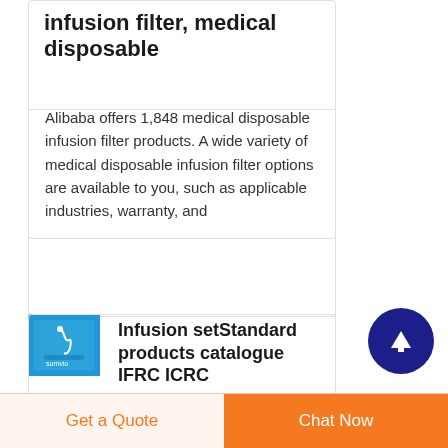infusion filter, medical disposable
Alibaba offers 1,848 medical disposable infusion filter products. A wide variety of medical disposable infusion filter options are available to you, such as applicable industries, warranty, and
[Figure (photo): Thumbnail image of an infusion set product on blue background]
Infusion setStandard products catalogue IFRC ICRC
The material components
Get a Quote
Chat Now